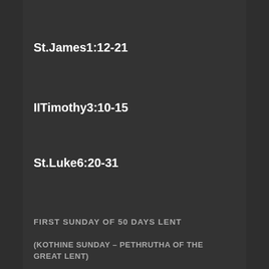Holy Qurbana
St.James1:12-21
IITimothy3:10-15
St.Luke6:20-31
FIRST SUNDAY OF 50 DAYS LENT
(KOTHINE SUNDAY – PETHRUTHA OF THE GREAT LENT)
Description
The Great Lent starts by commemorating the